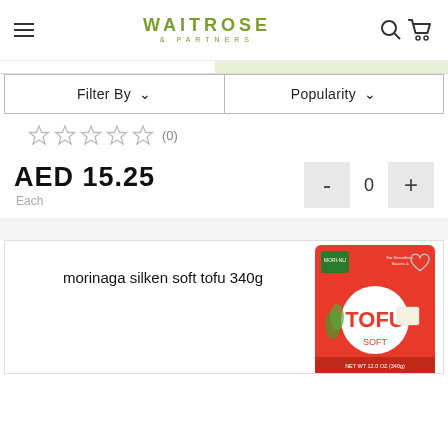WAITROSE & PARTNERS
Filter By
Popularity
☆☆☆☆☆ (0)
AED 15.25
Each
- 0 +
morinaga silken soft tofu 340g
[Figure (photo): Morinaga silken soft tofu product box, red packaging with TOFU SOFT text]